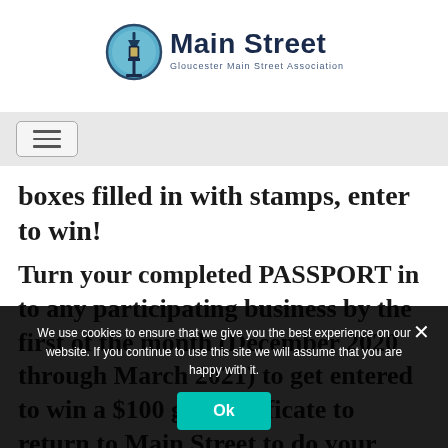[Figure (logo): Main Street Gloucester Main Street Association logo with circular lantern icon and text]
[Figure (screenshot): Navigation hamburger menu button]
boxes filled in with stamps, enter to win!
Turn your completed PASSPORT in to any participating business by the first of the month (December 2020 through March 2021) to get entered to win a $100 gift certificate to return to Main Street to do your holiday...
We use cookies to ensure that we give you the best experience on our website. If you continue to use this site we will assume that you are happy with it.
Ok